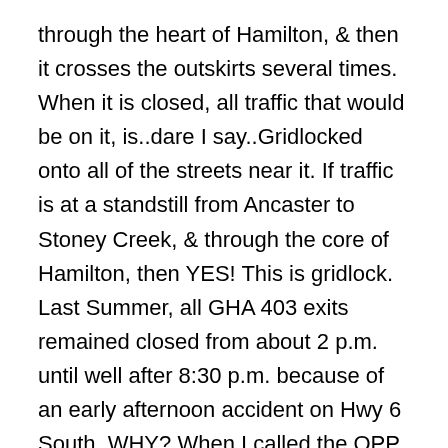through the heart of Hamilton, & then it crosses the outskirts several times. When it is closed, all traffic that would be on it, is..dare I say..Gridlocked onto all of the streets near it. If traffic is at a standstill from Ancaster to Stoney Creek, & through the core of Hamilton, then YES! This is gridlock. Last Summer, all GHA 403 exits remained closed from about 2 p.m. until well after 8:30 p.m. because of an early afternoon accident on Hwy 6 South. WHY? When I called the OPP to ask what had happened, the police were at a loss to explain to me why private citizens had placed barricades at the Garner Rd. entrance & exit ramps to the 403. Garner